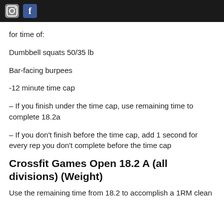[Instagram icon] [Facebook icon]
for time of:
Dumbbell squats 50/35 lb
Bar-facing burpees
-12 minute time cap
– If you finish under the time cap, use remaining time to complete 18.2a
– If you don't finish before the time cap, add 1 second for every rep you don't complete before the time cap
Crossfit Games Open 18.2 A (all divisions) (Weight)
Use the remaining time from 18.2 to accomplish a 1RM clean